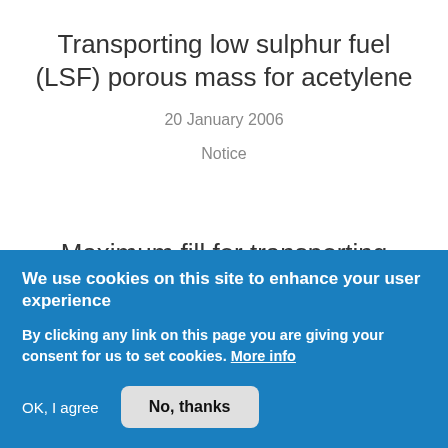Transporting low sulphur fuel (LSF) porous mass for acetylene
20 January 2006
Notice
Maximum fill for transporting liquefied petroleum gas
We use cookies on this site to enhance your user experience
By clicking any link on this page you are giving your consent for us to set cookies. More info
OK, I agree
No, thanks